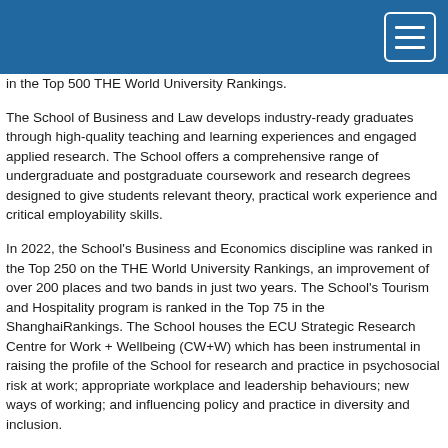in the Top 500 THE World University Rankings.
The School of Business and Law develops industry-ready graduates through high-quality teaching and learning experiences and engaged applied research. The School offers a comprehensive range of undergraduate and postgraduate coursework and research degrees designed to give students relevant theory, practical work experience and critical employability skills.
In 2022, the School's Business and Economics discipline was ranked in the Top 250 on the THE World University Rankings, an improvement of over 200 places and two bands in just two years. The School's Tourism and Hospitality program is ranked in the Top 75 in the ShanghaiRankings. The School houses the ECU Strategic Research Centre for Work + Wellbeing (CW+W) which has been instrumental in raising the profile of the School for research and practice in psychosocial risk at work; appropriate workplace and leadership behaviours; new ways of working; and influencing policy and practice in diversity and inclusion.